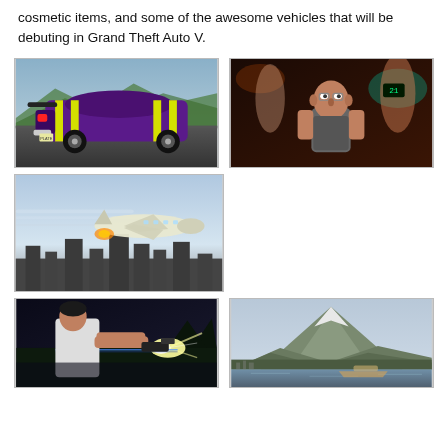cosmetic items, and some of the awesome vehicles that will be debuting in Grand Theft Auto V.
[Figure (screenshot): GTA V screenshot: rear view of a purple and yellow muscle car on a road with mountains in background]
[Figure (screenshot): GTA V screenshot: bald male character in a dimly lit interior with other characters around]
[Figure (screenshot): GTA V screenshot: a small plane or jet flying low over a city skyline with motion blur]
[Figure (screenshot): GTA V screenshot: character aiming a pistol with a muzzle flash in a dark outdoor scene]
[Figure (screenshot): GTA V screenshot: scenic landscape with a large mountain and water in the foreground]